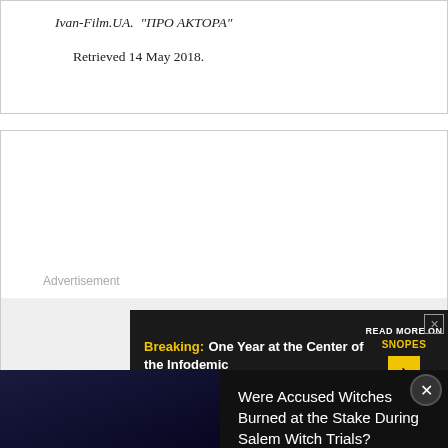Ivan-Film.UA. "ПРО АКТОРА" Retrieved 14 May 2018.
Advertisement
[Figure (screenshot): Snopes advertisement banner: 'Breaking: One Year at the Center of the Infodemic' with READ MORE ON SNOPES button]
[Figure (screenshot): Video overlay: 'Were Accused Witches Burned at the Stake During Salem Witch Trials?' with play button thumbnail and title text]
[Figure (screenshot): Bottom Snopes advertisement: 'Breaking: One Year at the Center of the Infodemic']